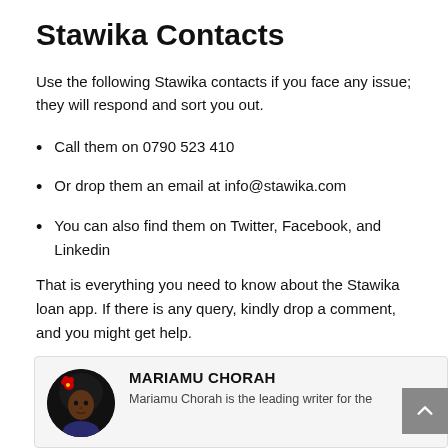Stawika Contacts
Use the following Stawika contacts if you face any issue; they will respond and sort you out.
Call them on 0790 523 410
Or drop them an email at info@stawika.com
You can also find them on Twitter, Facebook, and Linkedin
That is everything you need to know about the Stawika loan app. If there is any query, kindly drop a comment, and you might get help.
[Figure (illustration): Author card with circular avatar illustration of a woman with an afro and red flower, author name MARIAMU CHORAH in bold, and partial text 'Mariamu Chorah is the leading writer for the']
MARIAMU CHORAH
Mariamu Chorah is the leading writer for the